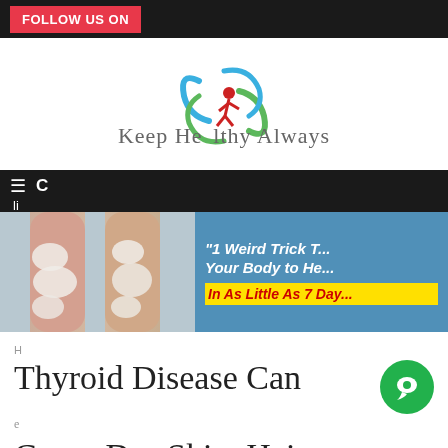FOLLOW US ON
[Figure (logo): Keep Healthy Always logo with circular swish design in blue and green, red running figure in center]
≡ C
[Figure (photo): Advertisement banner showing skin condition on legs (psoriasis/eczema) on left, and text '"1 Weird Trick T... Your Body to He... In As Little As 7 Day...' on blue background with yellow highlight]
Thyroid Disease Can Cause Dry Skin, Hair